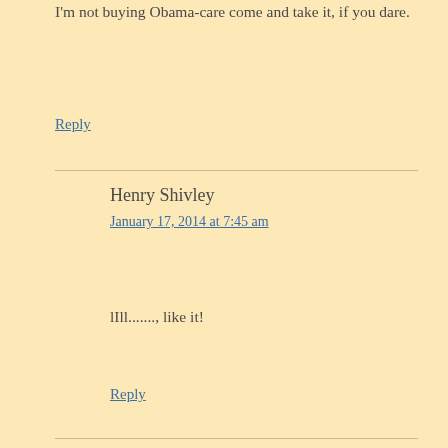I'm not buying Obama-care come and take it, if you dare.
Reply
Henry Shivley
January 17, 2014 at 7:45 am
lIll......., like it!
Reply